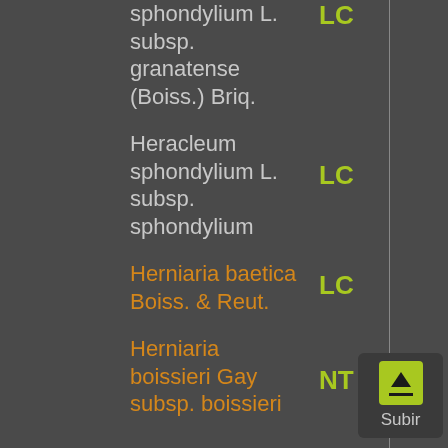sphondylium L. subsp. granatense (Boiss.) Briq. — LC
Heracleum sphondylium L. subsp. sphondylium — LC
Herniaria baetica Boiss. & Reut. — LC
Herniaria boissieri Gay subsp. boissieri — NT
[Figure (other): Subir (scroll up) button with upward arrow icon on dark background]